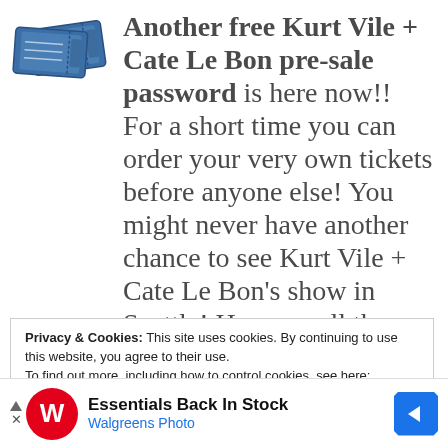Another free Kurt Vile + Cate Le Bon pre-sale password is here now!! For a short time you can order your very own tickets before anyone else! You might never have another chance to see Kurt Vile + Cate Le Bon's show in Seattle! Here are all the Kurt Vile + Cate Le Bon show details you could ask for:
Privacy & Cookies: This site uses cookies. By continuing to use this website, you agree to their use.
To find out more, including how to control cookies, see here:
Cookie Policy
[Figure (infographic): Walgreens Photo advertisement banner: Essentials Back In Stock, Walgreens Photo, with Walgreens W logo and blue diamond arrow icon]